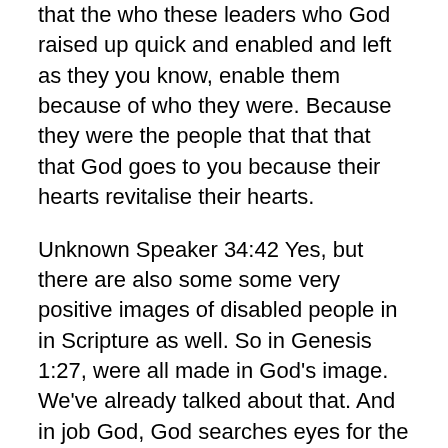that the who these leaders who God raised up quick and enabled and left as they you know, enable them because of who they were. Because they were the people that that that that God goes to you because their hearts revitalise their hearts.
Unknown Speaker 34:42 Yes, but there are also some some very positive images of disabled people in in Scripture as well. So in Genesis 1:27, were all made in God's image. We've already talked about that. And in job God, God searches eyes for the blind and feet for the lane. Being an advocate. He was actually an advocate advocating for for those with disabilities. Samuel 16, the Lord doesn't judge by appearance, and some to summon nine there is a place at the Kings table for mudfish I can't even name never say this with his method possess business, and the disabled son of Jonathan. And the